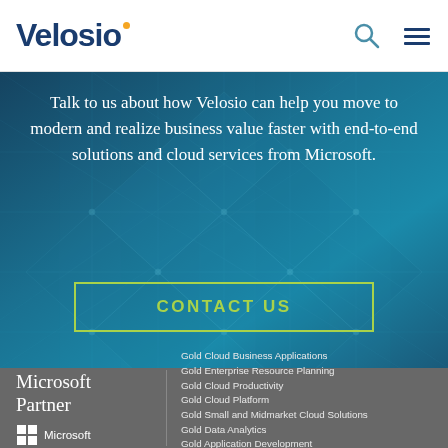Velosio
[Figure (photo): Blue geometric glass building panels background with hexagonal/diamond grid pattern]
Talk to us about how Velosio can help you move to modern and realize business value faster with end-to-end solutions and cloud services from Microsoft.
CONTACT US
[Figure (logo): Microsoft Partner logo with Microsoft Windows grid icon]
Gold Cloud Business Applications
Gold Enterprise Resource Planning
Gold Cloud Productivity
Gold Cloud Platform
Gold Small and Midmarket Cloud Solutions
Gold Data Analytics
Gold Application Development
Gold Datacenter